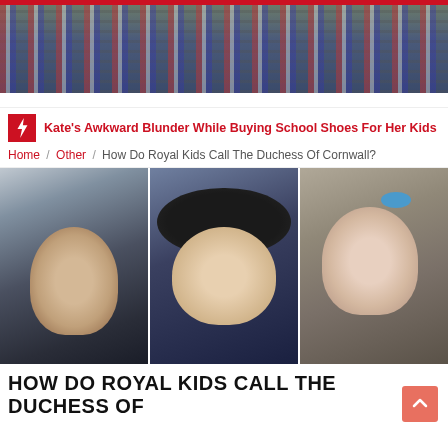[Figure (photo): Red top bar of website]
[Figure (photo): Wide banner photo of crowd waving Union Jack flags at a royal event]
Kate's Awkward Blunder While Buying School Shoes For Her Kids
Home / Other / How Do Royal Kids Call The Duchess Of Cornwall?
[Figure (photo): Three photos side by side: Prince George in school uniform, Duchess of Cornwall Camilla in dark hat and blue outfit smiling, and Princess Charlotte with blue hair bow]
HOW DO ROYAL KIDS CALL THE DUCHESS OF